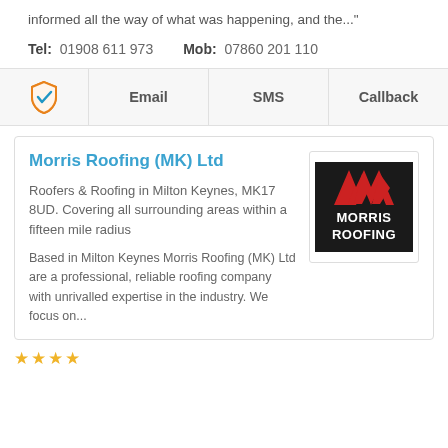informed all the way of what was happening, and the..."
Tel: 01908 611 973   Mob: 07860 201 110
Email  SMS  Callback
Morris Roofing (MK) Ltd
Roofers & Roofing in Milton Keynes, MK17 8UD. Covering all surrounding areas within a fifteen mile radius
Based in Milton Keynes Morris Roofing (MK) Ltd are a professional, reliable roofing company with unrivalled expertise in the industry. We focus on...
[Figure (logo): Morris Roofing logo — black background with red chevron/arrow mark above white bold text MORRIS ROOFING]